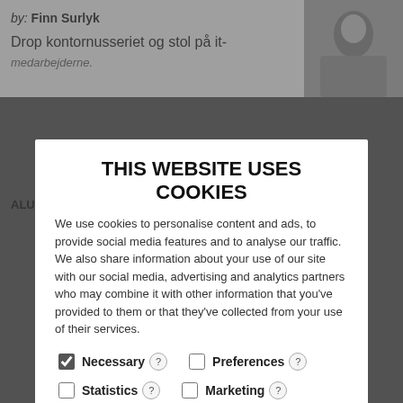by:  Finn Surlyk
Drop kontornusseriet og stol på it-medarbejderne.
ALUMNERNE
Leo... forv... hvid...
DEBAT
by:  Bjarne Andresen
IT på KU kan lære meget af den selvledende it-su...tors på Niels Bohr instituttet
DEBAT
by:  Ricardo Karam
Schrodingers notesbøger er fyldt med fejl og forkerte ideer. Derfor burde flere læse dem
STUDIELIV
THIS WEBSITE USES COOKIES
We use cookies to personalise content and ads, to provide social media features and to analyse our traffic. We also share information about your use of our site with our social media, advertising and analytics partners who may combine it with other information that you've provided to them or that they've collected from your use of their services.
Necessary ? Preferences ? Statistics ? Marketing ?
Allow selection
Allow all cookies